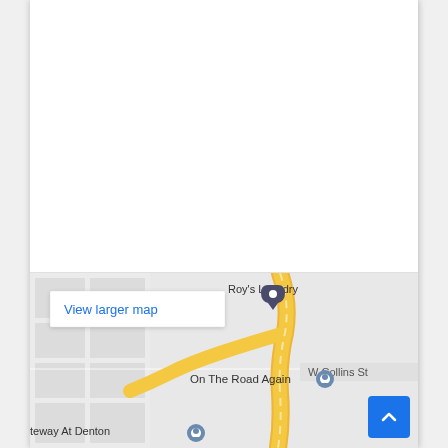[Figure (map): Google Maps embed showing a street map with 'Roy's Laundry', 'On The Road Again', 'teway At Denton', 'W Collins St', 'Fort W' road label, location pins, and a 'View larger map' button. A blue scroll-to-top button with an upward chevron is overlaid on the bottom right.]